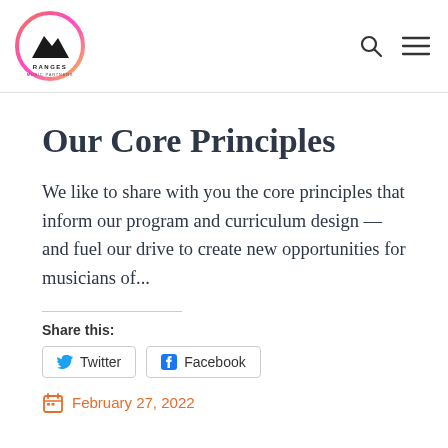Ranges Music Partners – navigation header with logo, search icon, and menu icon
Our Core Principles
We like to share with you the core principles that inform our program and curriculum design — and fuel our drive to create new opportunities for musicians of...
Share this:
Twitter  Facebook
February 27, 2022